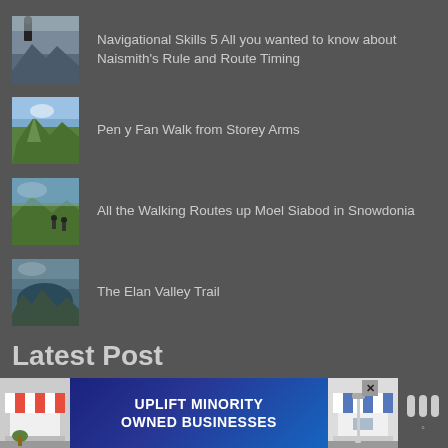Navigational Skills 5 All you wanted to know about Naismith's Rule and Route Timing
Pen y Fan Walk from Storey Arms
All the Walking Routes up Moel Siabod in Snowdonia
The Elan Valley Trail
Latest Post
Mustang Survival Torrens Hooded Jacket Review
[Figure (screenshot): Advertisement banner: UPLIFT MINORITY OWNED BUSINESSES with flanking market stall images and brand icon]